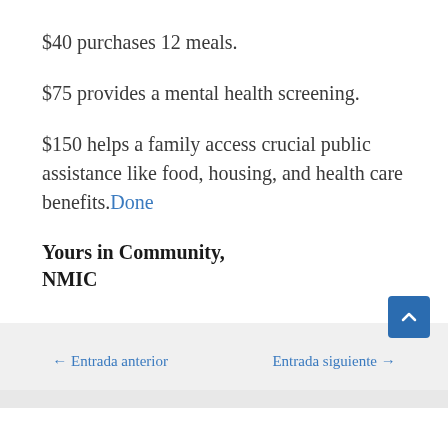$40 purchases 12 meals.
$75 provides a mental health screening.
$150 helps a family access crucial public assistance like food, housing, and health care benefits.Done
Yours in Community,
NMIC
← Entrada anterior    Entrada siguiente →